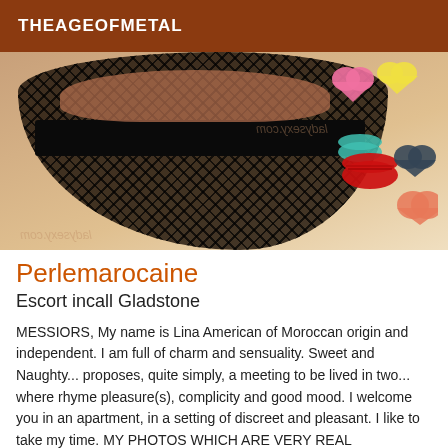THEAGEOFMETAL
[Figure (photo): Photo showing legs in fishnet stockings with a black band at top, on a white background with colorful decorative lip and heart stickers. Watermarks visible.]
Perlemarocaine
Escort incall Gladstone
MESSIORS, My name is Lina American of Moroccan origin and independent. I am full of charm and sensuality. Sweet and Naughty... proposes, quite simply, a meeting to be lived in two... where rhyme pleasure(s), complicity and good mood. I welcome you in an apartment, in a setting of discreet and pleasant. I like to take my time. MY PHOTOS WHICH ARE VERY REAL